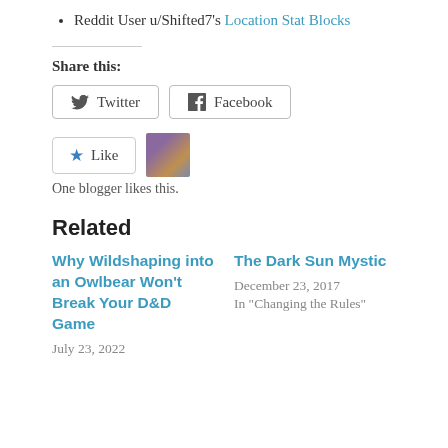Reddit User u/Shifted7's Location Stat Blocks
Share this:
Twitter  Facebook
Like  One blogger likes this.
Related
Why Wildshaping into an Owlbear Won't Break Your D&D Game
July 23, 2022
The Dark Sun Mystic
December 23, 2017
In "Changing the Rules"